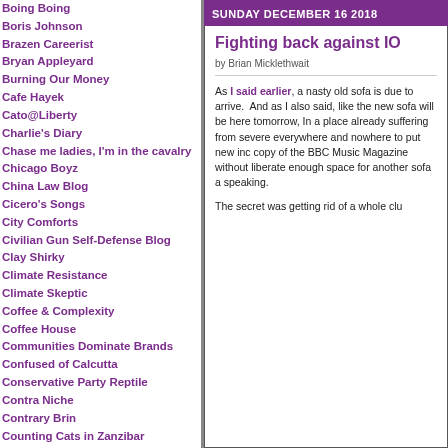Boing Boing
Boris Johnson
Brazen Careerist
Bryan Appleyard
Burning Our Money
Cafe Hayek
Cato@Liberty
Charlie's Diary
Chase me ladies, I'm in the cavalry
Chicago Boyz
China Law Blog
Cicero's Songs
City Comforts
Civilian Gun Self-Defense Blog
Clay Shirky
Climate Resistance
Climate Skeptic
Coffee & Complexity
Coffee House
Communities Dominate Brands
Confused of Calcutta
Conservative Party Reptile
Contra Niche
Contrary Brin
Counting Cats in Zanzibar
Скрипучая беседка
CrozierVision
Dave Barry
Davids Medienkritik
David Thompson
SUNDAY DECEMBER 16 2018
Fighting back against IO
by Brian Micklethwait
As I said earlier, a nasty old sofa is due to arrive. And as I also said, like the new sofa will be here tomorrow, In a place already suffering from severe everywhere and nowhere to put new inc copy of the BBC Music Magazine without liberate enough space for another sofa a speaking.
The secret was getting rid of a whole clu